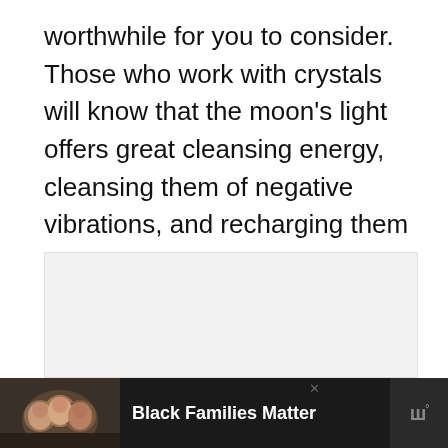worthwhile for you to consider. Those who work with crystals will know that the moon's light offers great cleansing energy, cleansing them of negative vibrations, and recharging them with energy.
[Figure (other): Gray placeholder advertisement area box]
[Figure (other): Advertisement banner at bottom: dark background with photo of smiling family, text 'Black Families Matter' in white bold, close button X, and logo mark with superscript degree symbol]